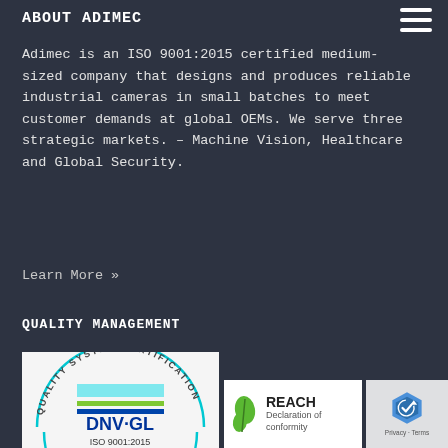ABOUT ADIMEC
Adimec is an ISO 9001:2015 certified medium- sized company that designs and produces reliable industrial cameras in small batches to meet customer demands at global OEMs. We serve three strategic markets. – Machine Vision, Healthcare and Global Security.
Learn More »
QUALITY MANAGEMENT
[Figure (logo): DNV GL Quality System Certification logo for ISO 9001:2015, circular seal with cyan and blue/green stripes]
[Figure (logo): REACH Declaration of conformity badge with green leaf icon]
[Figure (logo): reCAPTCHA badge with blue shield icon, Privacy and Terms text]